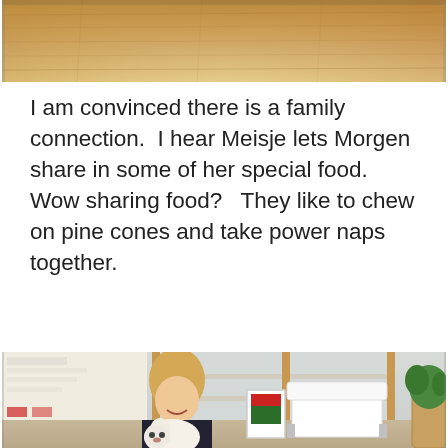[Figure (photo): Top portion of a cropped photo showing a wooden floor or surface with warm brown tones]
I am convinced there is a family connection.  I hear Meisje lets Morgen share in some of her special food.  Wow sharing food?   They like to chew on pine cones and take power naps together.
[Figure (photo): A woman with blonde hair sits on a floor in an office lobby holding a white Labrador puppy. Behind her are shoji-style wooden-framed glass partition doors. A white armchair and a small framed picture on a stand are visible, along with a bulletin board on the left and a potted plant on the right.]